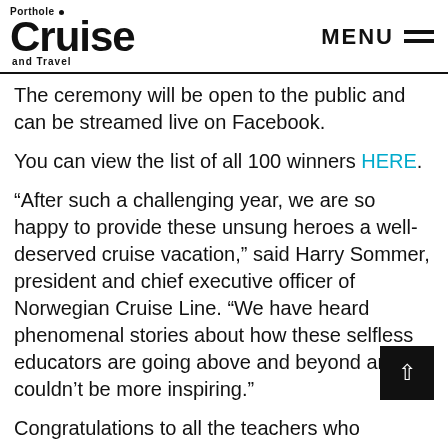Porthole Cruise and Travel — MENU
The ceremony will be open to the public and can be streamed live on Facebook.
You can view the list of all 100 winners HERE.
“After such a challenging year, we are so happy to provide these unsung heroes a well-deserved cruise vacation,” said Harry Sommer, president and chief executive officer of Norwegian Cruise Line. “We have heard phenomenal stories about how these selfless educators are going above and beyond and it couldn’t be more inspiring.”
Congratulations to all the teachers who